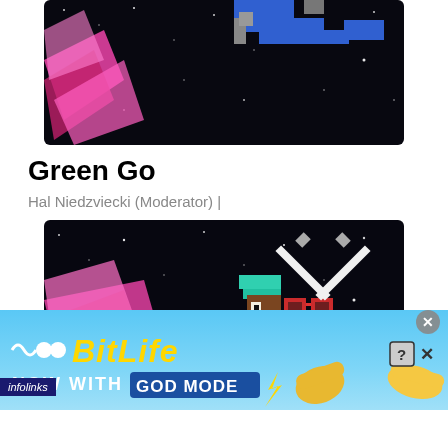[Figure (screenshot): Pixel art game screenshot showing space background with pink/magenta streaks and a pixelated character with blue blocks at top]
Green Go
Hal Niedzviecki (Moderator) |
[Figure (screenshot): Pixel art game screenshot showing dark starry space background with a pixelated character wearing teal hair, red sunglasses, white shirt, holding crossed white swords, with pink energy bursts]
infolinks
[Figure (infographic): BitLife advertisement banner with light blue background showing BitLife logo in yellow italic text, 'NOW WITH GOD MODE' text, pointing hand emoji graphics, and close/question mark buttons]